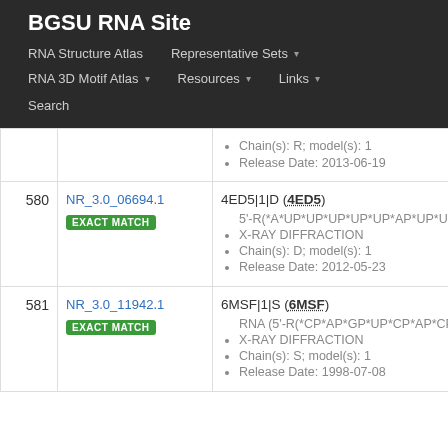BGSU RNA Site
RNA Structure Atlas | Representative Sets | RNA 3D Motif Atlas | Resources | Links | Search
| # | ID | Details |
| --- | --- | --- |
|  |  | Chain(s): R; model(s): 1
Release Date: 2013-06-19 |
| 580 | NR_3.0_06694.1 EXACT MATCH | 4ED5|1|D (4ED5)
5'-R(*A*UP*UP*UP*UP*UP*AP*UP*UP*U...
X-RAY DIFFRACTION
Chain(s): D; model(s): 1
Release Date: 2012-05-23 |
| 581 | NR_3.0_11942.1 EXACT MATCH | 6MSF|1|S (6MSF)
RNA (5'-R(*CP*AP*GP*UP*CP*AP*CP*U...
X-RAY DIFFRACTION
Chain(s): S; model(s): 1
Release Date: 1998-07-08 |